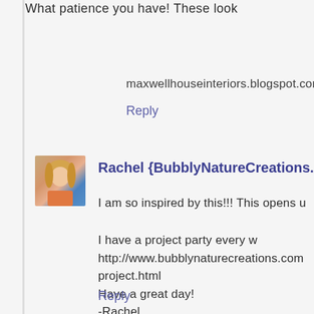What patience you have! These look
maxwellhouseinteriors.blogspot.com
Reply
[Figure (photo): Avatar photo of Rachel, a woman with blonde hair]
Rachel {BubblyNatureCreations.co
I am so inspired by this!!! This opens u
I have a project party every w
http://www.bubblynaturecreations.com
project.html
Have a great day!
-Rachel
Reply